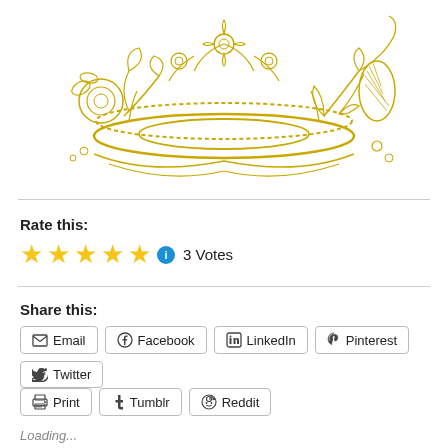[Figure (illustration): Decorative golden crown illustration with floral embellishments — flowers, leaves, and swirling vines drawn in gold/yellow line art style on white background.]
Rate this:
★★★★★ ℹ 3 Votes
Share this:
Email  Facebook  LinkedIn  Pinterest  Twitter  Print  Tumblr  Reddit
Loading...